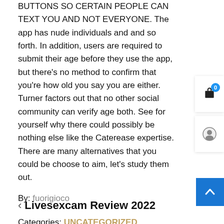BUTTONS SO CERTAIN PEOPLE CAN TEXT YOU AND NOT EVERYONE. The app has nude individuals and and so forth. In addition, users are required to submit their age before they use the app, but there's no method to confirm that you're how old you say you are either. Turner factors out that no other social community can verify age both. See for yourself why there could possibly be nothing else like the Caterease expertise. There are many alternatives that you could be choose to aim, let's study them out.
By: fuorigioco
Categories: UNCATEGORIZED
< Livesexcam Review 2022